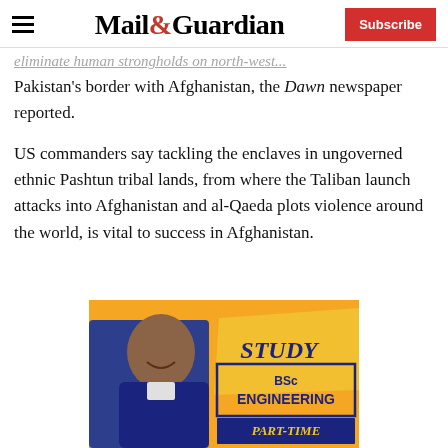Mail&Guardian — Subscribe
...eliminate human strongholds on north-west...
Pakistan's border with Afghanistan, the Dawn newspaper reported.
US commanders say tackling the enclaves in ungoverned ethnic Pashtun tribal lands, from where the Taliban launch attacks into Afghanistan and al-Qaeda plots violence around the world, is vital to success in Afghanistan.
[Figure (advertisement): BSc Engineering Part-Time study advertisement with a smiling man in a blue jacket against an orange background, featuring the text STUDY BSc ENGINEERING PART-TIME]